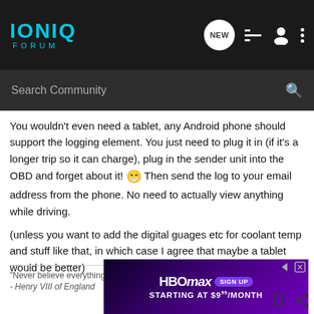IONIQ FORUM
You wouldn't even need a tablet, any Android phone should support the logging element. You just need to plug it in (if it's a longer trip so it can charge), plug in the sender unit into the OBD and forget about it! 😀 Then send the log to your email address from the phone. No need to actually view anything while driving.
(unless you want to add the digital guages etc for coolant temp and stuff like that, in which case I agree that maybe a tablet would be better)
"Never believe everything you read on the internet"
- Henry VIII of England
[Figure (screenshot): HBO Max advertisement banner: SIGN UP STARTING AT $9.99/MONTH]